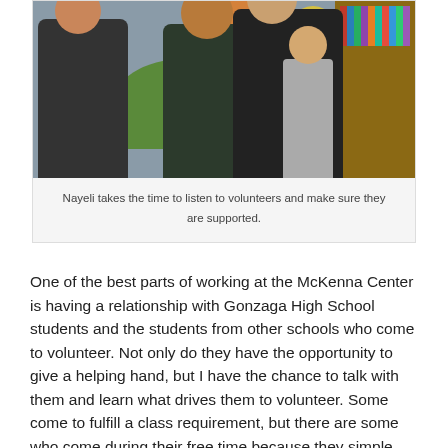[Figure (photo): Photo of Nayeli (a woman with red hair in a checkered top) listening to volunteers in what appears to be a library or community center. Several people are visible including someone in a white cap and dark jacket, another person in a dark hoodie, and a young man near a bookshelf in the background. Colorful murals are visible on the wall.]
Nayeli takes the time to listen to volunteers and make sure they are supported.
One of the best parts of working at the McKenna Center is having a relationship with Gonzaga High School students and the students from other schools who come to volunteer. Not only do they have the opportunity to give a helping hand, but I have the chance to talk with them and learn what drives them to volunteer. Some come to fulfill a class requirement, but there are some who come during their free time because they simple love it. As one senior told me “It is like completing a cycle. I started my time [in high school] at the McKenna Center and will end my senior year at the center as well.” As I reflect on this conversation, I am in awe over the fact that